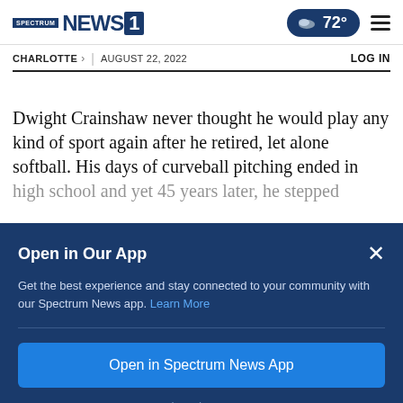Spectrum NEWS1 | 72° | Menu | CHARLOTTE > | AUGUST 22, 2022 | LOG IN
Dwight Crainshaw never thought he would play any kind of sport again after he retired, let alone softball. His days of curveball pitching ended in high school and yet 45 years later, he stepped
Open in Our App
Get the best experience and stay connected to your community with our Spectrum News app. Learn More
Open in Spectrum News App
Continue in Browser